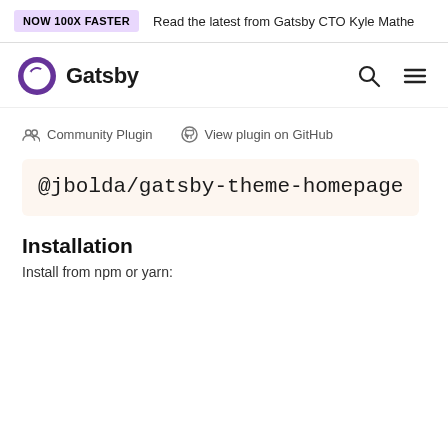NOW 100X FASTER   Read the latest from Gatsby CTO Kyle Mathe
[Figure (logo): Gatsby logo with purple swirl icon and wordmark 'Gatsby', plus search and menu icons on the right]
Community Plugin   View plugin on GitHub
@jbolda/gatsby-theme-homepage
Installation
Install from npm or yarn: